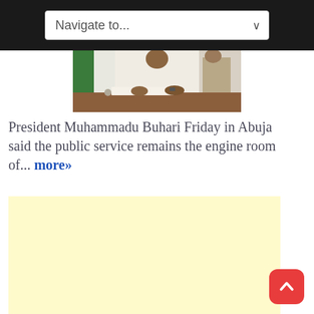Navigate to...
[Figure (photo): President Muhammadu Buhari seated at a desk, signing documents, with a Nigerian flag visible in the background.]
President Muhammadu Buhari Friday in Abuja said the public service remains the engine room of... more»
[Figure (other): Advertisement block with light yellow background]